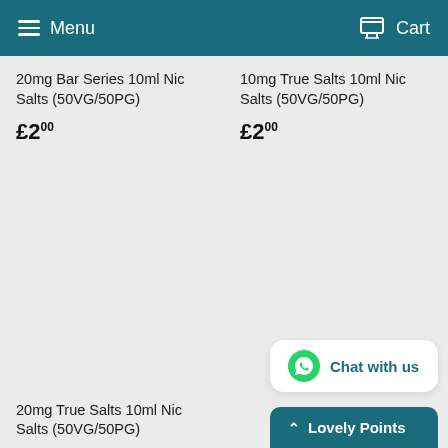Menu  Cart
20mg Bar Series 10ml Nic Salts (50VG/50PG)
£2.00
10mg True Salts 10ml Nic Salts (50VG/50PG)
£2.00
20mg True Salts 10ml Nic Salts (50VG/50PG)
Chat with us
Lovely Points